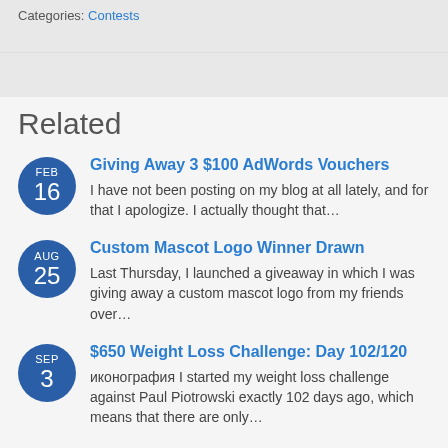Categories: Contests
Related
FEB 16 — Giving Away 3 $100 AdWords Vouchers. I have not been posting on my blog at all lately, and for that I apologize. I actually thought that…
AUG 25 — Custom Mascot Logo Winner Drawn. Last Thursday, I launched a giveaway in which I was giving away a custom mascot logo from my friends over…
SEP 3 — $650 Weight Loss Challenge: Day 102/120. иконография I started my weight loss challenge against Paul Piotrowski exactly 102 days ago, which means that there are only…